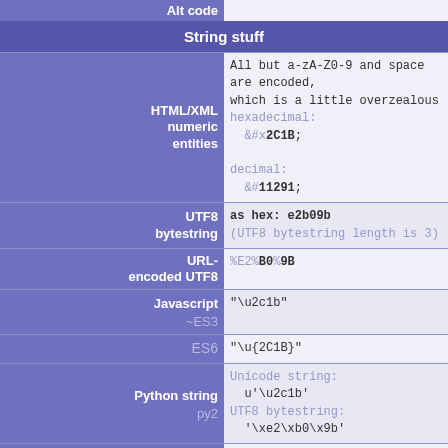| Alt code | String stuff |
| --- | --- |
| HTML/XML numeric entities | All but a-zA-Z0-9 and space are encoded,
which is a little overzealous
hexadecimal:
  &#x2C1B;

decimal:
  &#11291; |
| UTF8 bytestring | as hex: e2b09b
(UTF8 bytestring length is 3) |
| URL-encoded UTF8 | %E2%B0%9B |
| Javascript ~ES3 | "\u2c1b" |
| ES6 | "\u{2C1B}" |
| Python string py2 | Unicode string:
  u'\u2c1b'
UTF8 bytestring:
  '\xe2\xb0\x9b' |
| py3 | Unicode string:
  '\u2c1b'
UTF8 bytestring:
  b'\xe2\xb0\x9b' |
| Ruby | "\u{2c1b}" |